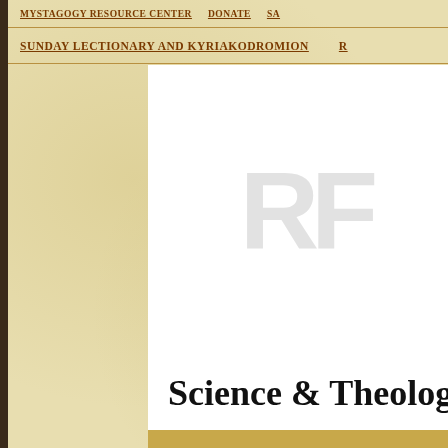MYSTAGOGY RESOURCE CENTER    DONATE    SA
SUNDAY LECTIONARY AND KYRIAKODROMION    R
[Figure (other): RF watermark logo placeholder in white content area]
Science & Theology Writi
SUNDAY, SEPTEMBER 26, 2010
The Translation of the Ho Apostle Andrew to Patras
[Figure (logo): Mystagogy Resource Center logo box - gold/tan background with text: Mystagogy Resource Center, An Orthodox Christian Ministry of John Sanidopoulos]
[Figure (photo): Article thumbnail image at bottom right showing decorative/religious imagery]